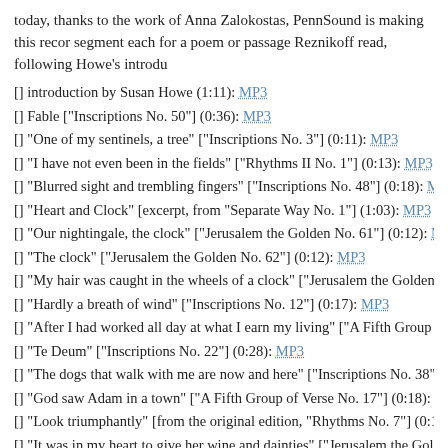today, thanks to the work of Anna Zalokostas, PennSound is making this recor segment each for a poem or passage Reznikoff read, following Howe's introdu
[] introduction by Susan Howe (1:11): MP3
[] Fable ["Inscriptions No. 50"] (0:36): MP3
[] "One of my sentinels, a tree" ["Inscriptions No. 3"] (0:11): MP3
[] "I have not even been in the fields" ["Rhythms II No. 1"] (0:13): MP3
[] "Blurred sight and trembling fingers" ["Inscriptions No. 48"] (0:18): MP3
[] "Heart and Clock" [excerpt, from "Separate Way No. 1"] (1:03): MP3
[] "Our nightingale, the clock" ["Jerusalem the Golden No. 61"] (0:12): MP3
[] "The clock" ["Jerusalem the Golden No. 62"] (0:12): MP3
[] "My hair was caught in the wheels of a clock" ["Jerusalem the Golden No.
[] "Hardly a breath of wind" ["Inscriptions No. 12"] (0:17): MP3
[] "After I had worked all day at what I earn my living" ["A Fifth Group of Ve
[] "Te Deum" ["Inscriptions No. 22"] (0:28): MP3
[] "The dogs that walk with me are now and here" ["Inscriptions No. 38"] (0:1
[] "God saw Adam in a town" ["A Fifth Group of Verse No. 17"] (0:18): MP3
[] "Look triumphantly" [from the original edition, "Rhythms No. 7"] (0:14): M
[] "It was in my heart to give her wine and dainties" ["Jerusalem the Golden